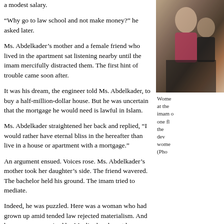a modest salary.
[Figure (photo): Photo of women at an imam meeting, partially cropped on right side of page]
Women at the imam of one fl the dev wome (Pho
“Why go to law school and not make money?” he asked later.
Ms. Abdelkader’s mother and a female friend who lived in the apartment sat listening nearby until the imam mercifully distracted them. The first hint of trouble came soon after.
It was his dream, the engineer told Ms. Abdelkader, to buy a half-million-dollar house. But he was uncertain that the mortgage he would need is lawful in Islam.
Ms. Abdelkader straightened her back and replied, “I would rather have eternal bliss in the hereafter than live in a house or apartment with a mortgage.”
An argument ensued. Voices rose. Ms. Abdelkader’s mother took her daughter’s side. The friend wavered. The bachelor held his ground. The imam tried to mediate.
Indeed, he was puzzled. Here was a woman who had grown up amid tended law rejected materialism. And here was a man raised by Muslim hands, yet he was n
After the date, the bachelor told the imam, “I want a woman, not a sheik.”
Months later, he married another immigrant; she was not especially devoted to b